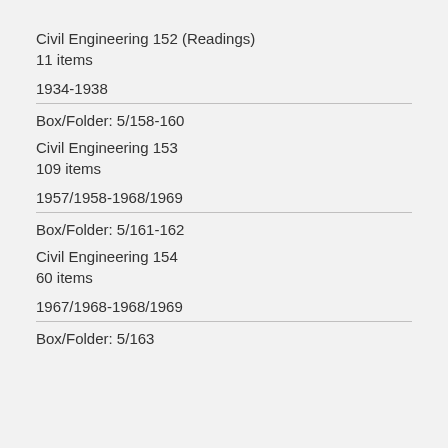Civil Engineering 152 (Readings)
11 items
1934-1938
Box/Folder: 5/158-160
Civil Engineering 153
109 items
1957/1958-1968/1969
Box/Folder: 5/161-162
Civil Engineering 154
60 items
1967/1968-1968/1969
Box/Folder: 5/163